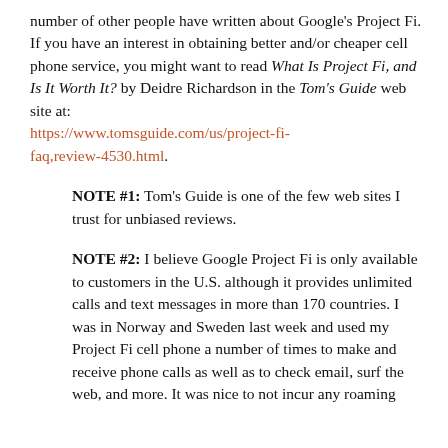number of other people have written about Google's Project Fi. If you have an interest in obtaining better and/or cheaper cell phone service, you might want to read What Is Project Fi, and Is It Worth It? by Deidre Richardson in the Tom's Guide web site at: https://www.tomsguide.com/us/project-fi-faq,review-4530.html.
NOTE #1: Tom's Guide is one of the few web sites I trust for unbiased reviews.
NOTE #2: I believe Google Project Fi is only available to customers in the U.S. although it provides unlimited calls and text messages in more than 170 countries. I was in Norway and Sweden last week and used my Project Fi cell phone a number of times to make and receive phone calls as well as to check email, surf the web, and more. It was nice to not incur any roaming